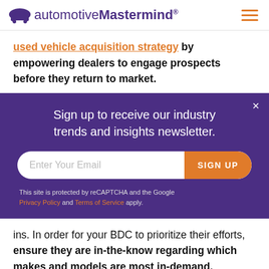automotiveMastermind®
used vehicle acquisition strategy by empowering dealers to engage prospects before they return to market.
Sign up to receive our industry trends and insights newsletter.
Enter Your Email | SIGN UP
This site is protected by reCAPTCHA and the Google Privacy Policy and Terms of Service apply.
ins. In order for your BDC to prioritize their efforts, ensure they are in-the-know regarding which makes and models are most in-demand.